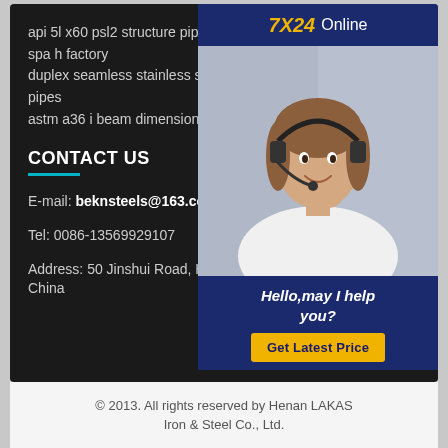api 5l x60 psl2 structure pipe
spa h factory
duplex seamless stainless steel round hollow pipes
astm a36 i beam dimensions
CONTACT US
E-mail: beknsteels@163.com
Tel: 0086-13569929107
Address: 50 Jinshui Road, Henan, China
[Figure (photo): Customer service representative wearing headset, smiling, with 7X24 Online widget, Hello may I help you text, and Get Latest Price button]
© 2013. All rights reserved by Henan LAKAS Iron & Steel Co., Ltd.